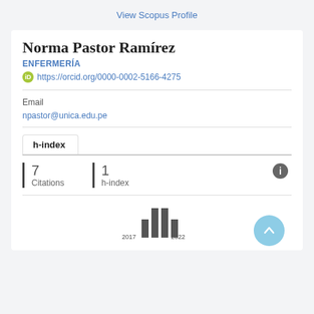View Scopus Profile
Norma Pastor Ramírez
ENFERMERÍA
https://orcid.org/0000-0002-5166-4275
Email
npastor@unica.edu.pe
h-index
| Citations | h-index |
| --- | --- |
| 7 | 1 |
[Figure (bar-chart): Publications per year]